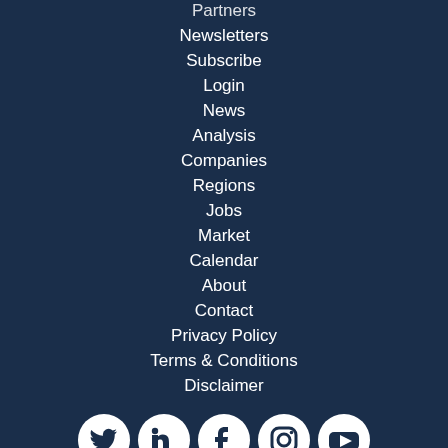Partners
Newsletters
Subscribe
Login
News
Analysis
Companies
Regions
Jobs
Market
Calendar
About
Contact
Privacy Policy
Terms & Conditions
Disclaimer
[Figure (illustration): Social media icons: Twitter, LinkedIn, Facebook, Instagram, YouTube in white circles on dark blue background]